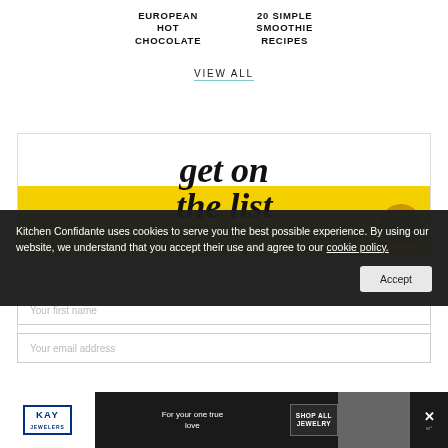EUROPEAN HOT CHOCOLATE
20 SIMPLE SMOOTHIE RECIPES
VIEW ALL
[Figure (screenshot): Newsletter signup section with italic script headline 'get on the list' over a yellow bar, subtitle 'WE'LL EMAIL YOU THE BEST POSTS', and form fields for first name and email address]
Kitchen Confidante uses cookies to serve you the best possible experience. By using our website, we understand that you accept their use and agree to our cookie policy.
[Figure (screenshot): KAY Jewelers advertisement bar at the bottom: 'For your one true love' with SHOP ALL JEWELRY button, couple image, and close button]